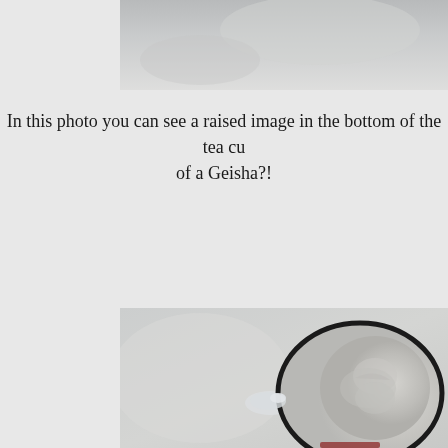[Figure (photo): Top portion of a blurry photograph showing the interior of a pale ceramic tea cup, cropped at top of page]
In this photo you can see a raised image in the bottom of the tea cup of a Geisha?!
[Figure (photo): Close-up photograph of the bottom interior of a white ceramic tea cup showing a raised relief image of a Geisha face, with black circular rim border visible]